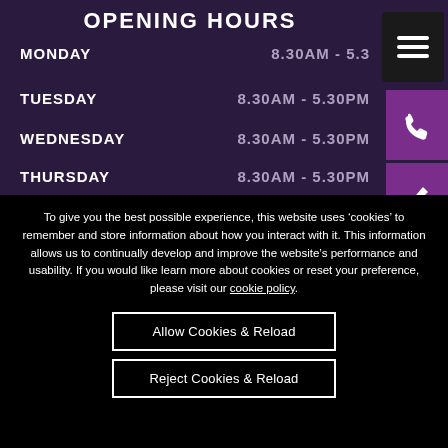OPENING HOURS
MONDAY   8.30AM - 5.30PM
TUESDAY   8.30AM - 5.30PM
WEDNESDAY   8.30AM - 5.30PM
THURSDAY   8.30AM - 5.30PM
To give you the best possible experience, this website uses ‘cookies’ to remember and store information about how you interact with it. This information allows us to continually develop and improve the website’s performance and usability. If you would like learn more about cookies or reset your preference, please visit our cookie policy.
Allow Cookies & Reload
Reject Cookies & Reload